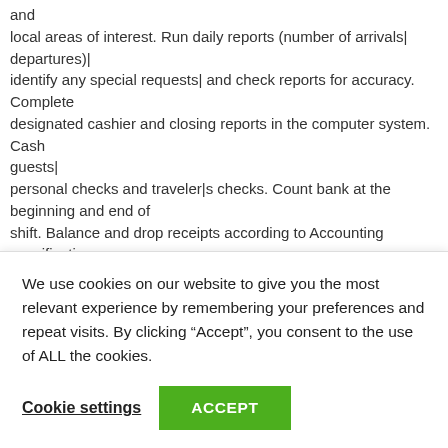and local areas of interest. Run daily reports (number of arrivals| departures)| identify any special requests| and check reports for accuracy. Complete designated cashier and closing reports in the computer system. Cash guests| personal checks and traveler|s checks. Count bank at the beginning and end of shift. Balance and drop receipts according to Accounting specifications.

Follow all company safety and security policies and procedures; report accidents| injuries| and unsafe work conditions to manager. Follow all company policies and procedures; ensure uniform and personal appearance are clean and professional; maintain confidentiality of proprietary information; protect company assets. Welcome and acknowledge all guests according to
We use cookies on our website to give you the most relevant experience by remembering your preferences and repeat visits. By clicking “Accept”, you consent to the use of ALL the cookies.
Cookie settings
ACCEPT